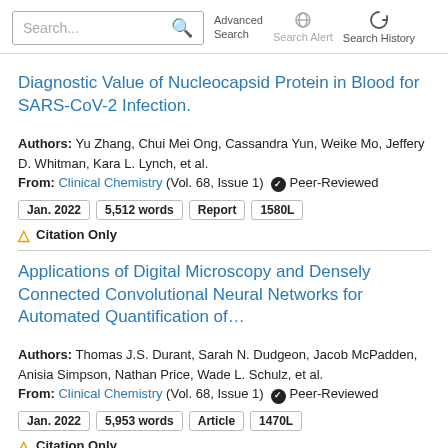Search... Advanced Search Search Alert Search History
Diagnostic Value of Nucleocapsid Protein in Blood for SARS-CoV-2 Infection.
Authors: Yu Zhang, Chui Mei Ong, Cassandra Yun, Weike Mo, Jeffery D. Whitman, Kara L. Lynch, et al.
From: Clinical Chemistry (Vol. 68, Issue 1) ✔ Peer-Reviewed
Jan. 2022   5,512 words   Report   1580L
⚠ Citation Only
Applications of Digital Microscopy and Densely Connected Convolutional Neural Networks for Automated Quantification of…
Authors: Thomas J.S. Durant, Sarah N. Dudgeon, Jacob McPadden, Anisia Simpson, Nathan Price, Wade L. Schulz, et al.
From: Clinical Chemistry (Vol. 68, Issue 1) ✔ Peer-Reviewed
Jan. 2022   5,953 words   Article   1470L
⚠ Citation Only